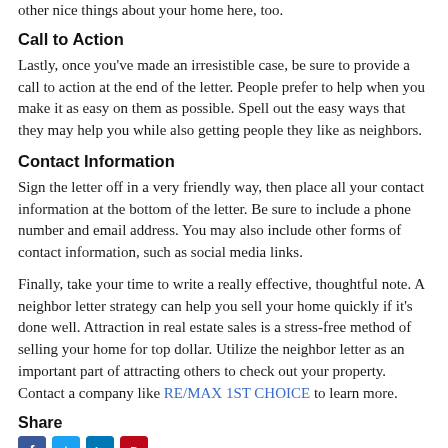other nice things about your home here, too.
Call to Action
Lastly, once you've made an irresistible case, be sure to provide a call to action at the end of the letter. People prefer to help when you make it as easy on them as possible. Spell out the easy ways that they may help you while also getting people they like as neighbors.
Contact Information
Sign the letter off in a very friendly way, then place all your contact information at the bottom of the letter. Be sure to include a phone number and email address. You may also include other forms of contact information, such as social media links.
Finally, take your time to write a really effective, thoughtful note. A neighbor letter strategy can help you sell your home quickly if it's done well. Attraction in real estate sales is a stress-free method of selling your home for top dollar. Utilize the neighbor letter as an important part of attracting others to check out your property. Contact a company like RE/MAX 1ST CHOICE to learn more.
Share